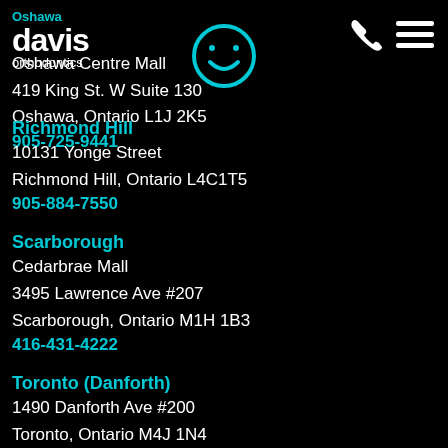Oshawa davis orthodontics
Oshawa Centre Mall
419 King St. W Suite 130
Oshawa, Ontario L1J 2K5
905-725-9441
Richmond Hill
10131 Yonge Street
Richmond Hill, Ontario L4C1T5
905-884-7550
Scarborough
Cedarbrae Mall
3495 Lawrence Ave #207
Scarborough, Ontario M1H 1B3
416-431-4222
Toronto (Danforth)
1490 Danforth Ave #200
Toronto, Ontario M4J 1N4
416-463-1153